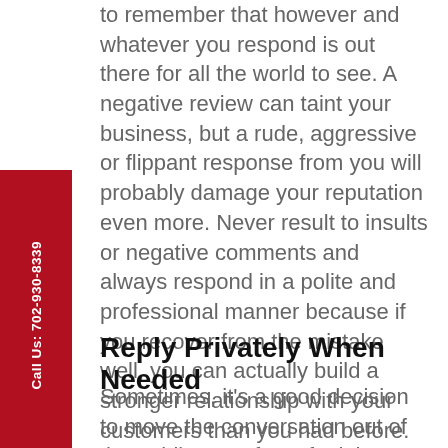to remember that however and whatever you respond is out there for all the world to see. A negative review can taint your business, but a rude, aggressive or flippant response from you will probably damage your reputation even more. Never result to insults or negative comments and always respond in a polite and professional manner because if you recover from the mistake well, you can actually build a stronger relationship with your customers than you had before.
Reply Privately When Needed
Sometimes, it's a good decision to move the conversation out of the public eye. If you feel that reaching out to a customer